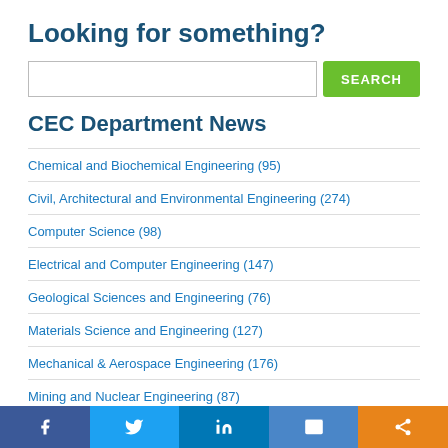Looking for something?
Chemical and Biochemical Engineering (95)
Civil, Architectural and Environmental Engineering (274)
Computer Science (98)
Electrical and Computer Engineering (147)
Geological Sciences and Engineering (76)
Materials Science and Engineering (127)
Mechanical & Aerospace Engineering (176)
Mining and Nuclear Engineering (87)